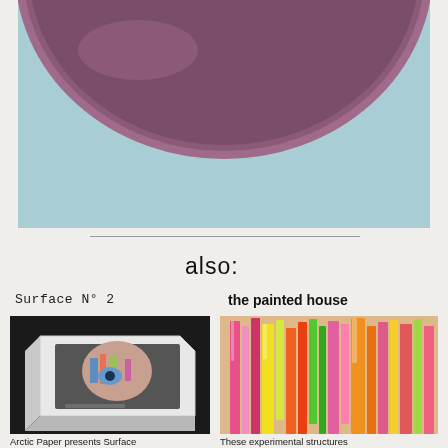[Figure (photo): Close-up photo of bottom edge of a large purple/mauve circular object (possibly a ceramic plate or disc) against a pale blue-gray textured background]
also:
Surface N° 2
the painted house
[Figure (photo): Photo of an acrylic box containing a printed book or catalogue showing a child's face]
[Figure (photo): Photo of colorful vertical translucent rods or sticks in various colors arranged together]
Arctic Paper presents Surface
These experimental structures